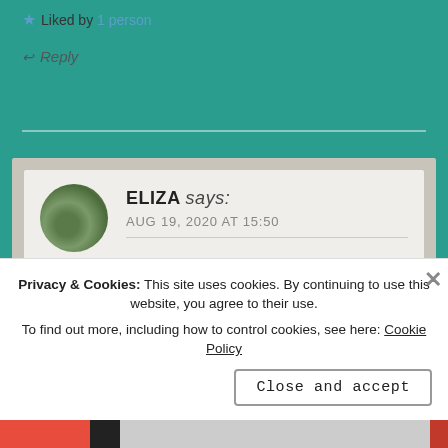★ Liked by 1 person
↩ Reply
ELIZA says: AUG 19, 2020 AT 15:50
They could be...
★ Liked by 2 people
Privacy & Cookies: This site uses cookies. By continuing to use this website, you agree to their use. To find out more, including how to control cookies, see here: Cookie Policy
Close and accept